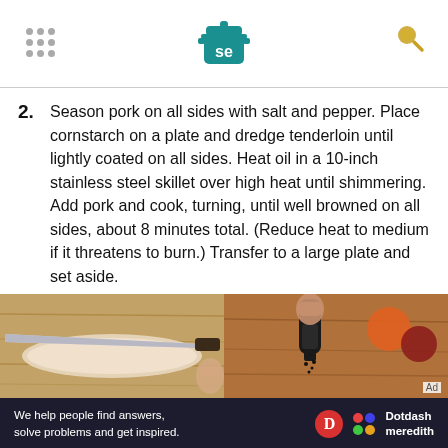Serious Eats logo with navigation icons
2. Season pork on all sides with salt and pepper. Place cornstarch on a plate and dredge tenderloin until lightly coated on all sides. Heat oil in a 10-inch stainless steel skillet over high heat until shimmering. Add pork and cook, turning, until well browned on all sides, about 8 minutes total. (Reduce heat to medium if it threatens to burn.) Transfer to a large plate and set aside.
[Figure (photo): Two side-by-side food preparation photos: left shows a knife and pork tenderloin on a cutting board, right shows a hand using a pepper grinder over food on a cutting board.]
We help people find answers, solve problems and get inspired. Dotdash Meredith